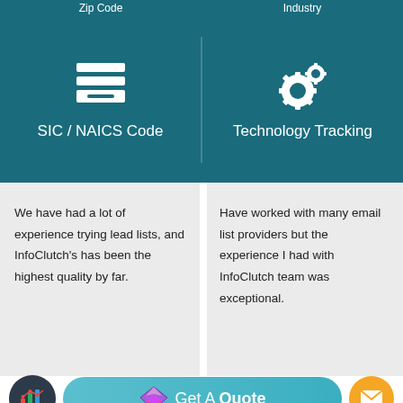Zip Code   |   Industry
[Figure (infographic): Two-column dark teal section with icons: left side shows a filing tray/inbox icon above 'SIC / NAICS Code', right side shows gear/settings icons above 'Technology Tracking']
We have had a lot of experience trying lead lists, and InfoClutch's has been the highest quality by far.
Have worked with many email list providers but the experience I had with InfoClutch team was exceptional.
[Figure (infographic): Bottom bar with: dark circle with bar chart icon, teal 'Get A Quote' button with envelope/diamond logo, orange circle with mail icon]